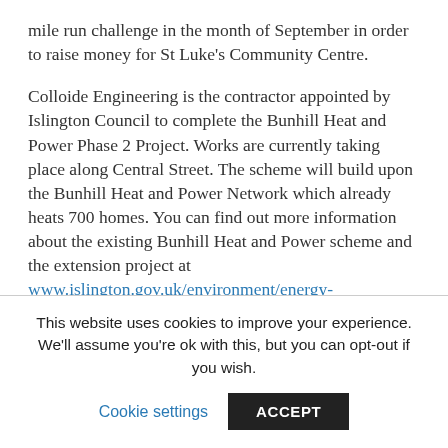mile run challenge in the month of September in order to raise money for St Luke's Community Centre.
Colloide Engineering is the contractor appointed by Islington Council to complete the Bunhill Heat and Power Phase 2 Project. Works are currently taking place along Central Street. The scheme will build upon the Bunhill Heat and Power Network which already heats 700 homes. You can find out more information about the existing Bunhill Heat and Power scheme and the extension project at www.islington.gov.uk/environment/energy-services/bunhill-heat-power.
As the end of the month draws closer, Elaine and Joanne have only a mere 30 miles left to complete this challenge.
This website uses cookies to improve your experience. We'll assume you're ok with this, but you can opt-out if you wish.